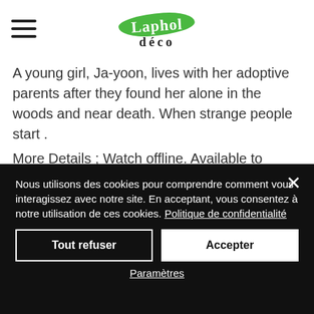[Figure (logo): Laphol Deco logo with green leaf shape and text]
A young girl, Ja-yoon, lives with her adoptive parents after they found her alone in the woods and near death. When strange people start . More Details ; Watch offline. Available to download ; Genres. Korean, Sci-Fi Movies, Action & Adventure, Asian Action Movies ; This movie is. Dark, Suspenseful. Season Of The Witch Part 2 Hindi
Nous utilisons des cookies pour comprendre comment vous interagissez avec notre site. En acceptant, vous consentez à notre utilisation de ces cookies. Politique de confidentialité
Tout refuser
Accepter
Paramètres